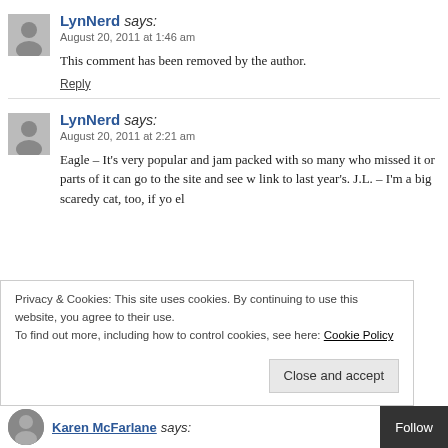LynNerd says: August 20, 2011 at 1:46 am
This comment has been removed by the author.
Reply
LynNerd says: August 20, 2011 at 2:21 am
Eagle – It's very popular and jam packed with so many who missed it or parts of it can go to the site and see w link to last year's. J.L. – I'm a big scaredy cat, too, if yo el
Privacy & Cookies: This site uses cookies. By continuing to use this website, you agree to their use.
To find out more, including how to control cookies, see here: Cookie Policy
Close and accept
Karen McFarlane says:
Follow